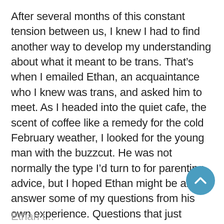After several months of this constant tension between us, I knew I had to find another way to develop my understanding about what it meant to be trans. That’s when I emailed Ethan, an acquaintance who I knew was trans, and asked him to meet. As I headed into the quiet cafe, the scent of coffee like a remedy for the cold February weather, I looked for the young man with the buzzcut. He was not normally the type I’d turn to for parenting advice, but I hoped Ethan might be able to answer some of my questions from his own experience. Questions that just caused arguments between me and my newly determined son.
Ethan...